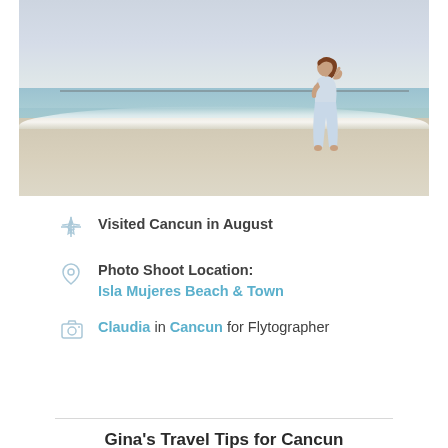[Figure (photo): Woman in a light blue outfit walking on a white sandy beach in Cancun. Ocean water and sky visible in the background. Buoy line visible in the water.]
✈ Visited Cancun in August
📍 Photo Shoot Location: Isla Mujeres Beach & Town
📷 Claudia in Cancun for Flytographer
Gina's Travel Tips for Cancun